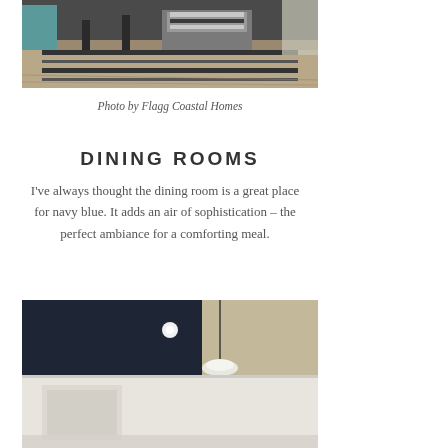[Figure (photo): Interior photo showing a striped area rug on hardwood floors with furniture including a chair, and a storage ottoman with a throw blanket in a living room setting]
Photo by Flagg Coastal Homes
DINING ROOMS
I've always thought the dining room is a great place for navy blue. It adds an air of sophistication – the perfect ambiance for a comforting meal.
[Figure (photo): Interior photo of a dining room with navy blue wall, pendant light fixture hanging from wooden ceiling beams, and light-colored lower walls/wainscoting]